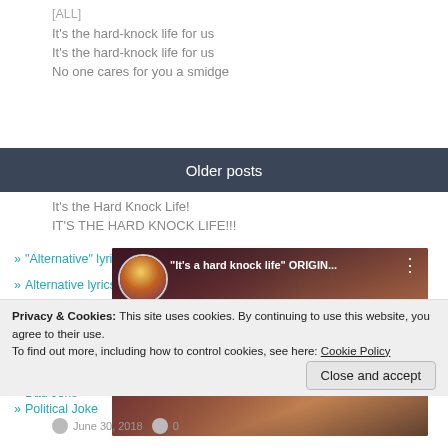[ALL]
It's the hard-knock life for us
It's the hard-knock life for us
No one cares for you a smidge
Older posts
It's the Hard Knock Life!
IT'S THE HARD KNOCK LIFE!!!
» "Alternative" Lyrics
» Alternative lyrics
[Figure (screenshot): YouTube video thumbnail showing 'It's a hard knock life' ORIGIN... with a play button overlay, avatar icon top-left and three-dots menu top-right]
» Communications
» Contest
» Dad Joke
Privacy & Cookies: This site uses cookies. By continuing to use this website, you agree to their use.
To find out more, including how to control cookies, see here: Cookie Policy
Close and accept
» Political Joke
June 30, 2018  · 0